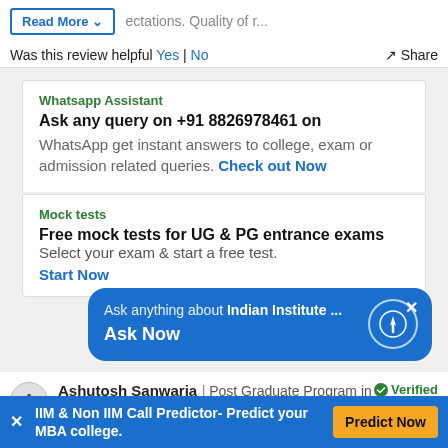Read More ectations. Quality of r...
Was this review helpful Yes | No Share
Whatsapp Assistant
Ask any query on +91 8826978461 on WhatsApp get instant answers to college, exam or admission related queries. Check out Now
Mock tests
Free mock tests for UG & PG entrance exams Select your exam & start a free test. Start Now
Ask anything about Indian Institute ... Ask Now
Ashutosh Sanwaria | Post Graduate Program in Management (PGPM) - Batch of 2020 Verified
IIM & Non IIM Call Predictor- Predict your MBA college. Predict Now